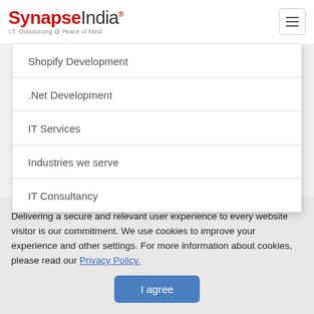SynapseIndia® I.T. Outsourcing @ Peace of Mind
Shopify Development
.Net Development
IT Services
Industries we serve
IT Consultancy
Delivering a secure and relevant user experience to every website visitor is our commitment. We use cookies to improve your experience and other settings. For more information about cookies, please read our Privacy Policy.